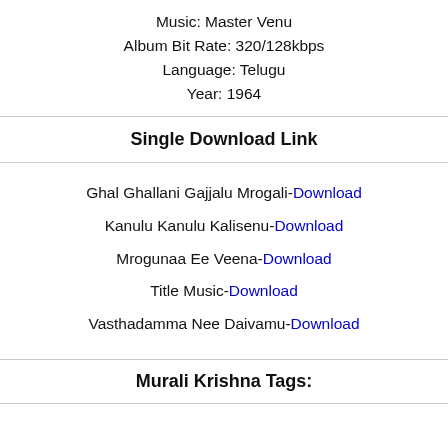Music: Master Venu
Album Bit Rate: 320/128kbps
Language: Telugu
Year: 1964
Single Download Link
Ghal Ghallani Gajjalu Mrogali-Download
Kanulu Kanulu Kalisenu-Download
Mrogunaa Ee Veena-Download
Title Music-Download
Vasthadamma Nee Daivamu-Download
Murali Krishna Tags: